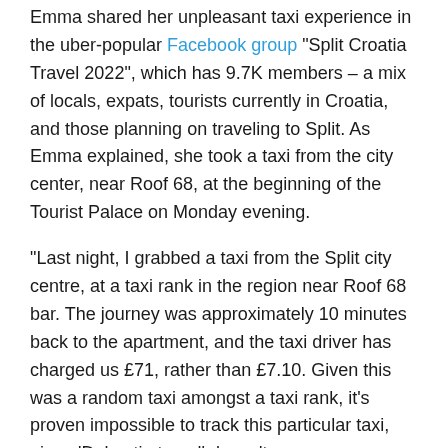Emma shared her unpleasant taxi experience in the uber-popular Facebook group "Split Croatia Travel 2022", which has 9.7K members – a mix of locals, expats, tourists currently in Croatia, and those planning on traveling to Split. As Emma explained, she took a taxi from the city center, near Roof 68, at the beginning of the Tourist Palace on Monday evening.
"Last night, I grabbed a taxi from the Split city centre, at a taxi rank in the region near Roof 68 bar. The journey was approximately 10 minutes back to the apartment, and the taxi driver has charged us £71, rather than £7.10. Given this was a random taxi amongst a taxi rank, it's proven impossible to track this particular taxi, given 'Dalmatia travel' doesn't